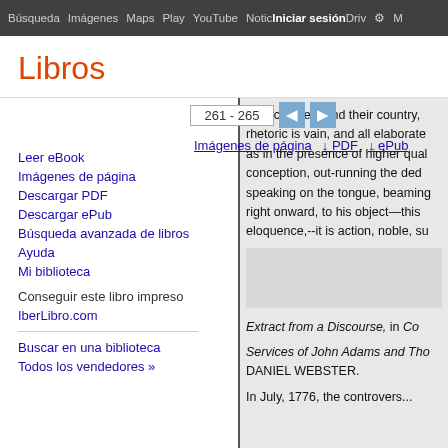Búsqueda  Imágenes  Maps  Play  YouTube  Noticias  Iniciar sesión  Drive  ⚙  M
Libros
261 - 265
Imágenes de página   ↓ PDF   ↓ ePub
Leer eBook
Imágenes de página
Descargar PDF
Descargar ePub
Búsqueda avanzada de libros
Ayuda
Mi biblioteca
Conseguir este libro impreso
IberLibro.com
Buscar en una biblioteca
Todos los vendedores »
their children, and their country, rhetoric is vain, and all elaborate as in the presence of higher qual conception, out-running the ded speaking on the tongue, beaming right onward, to his object—this eloquence,--it is action, noble, su
Extract from a Discourse, in Co Services of John Adams and Tho DANIEL WEBSTER.
In July, 1776, the controvers...